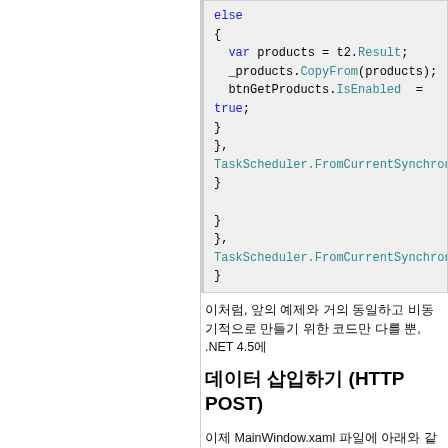[Figure (screenshot): Code snippet showing C# async code with else block, _products.CopyFrom, btnGetProducts.IsEnabled = true, TaskScheduler.FromCurrentSynchronizationContext calls]
이처럼, 앞의 예제와 거의 동일하고 비동기적으로 만들기 위한 코드만 다를 뿐, .NET 4.5에
데이터 삽입하기 (HTTP POST)
이제 MainWindow.xaml 파일에 아래와 같은 마크업 코드를 추가하여 이
[Figure (screenshot): XAML code snippet showing Label FontWeight=ExtraBold, Label Name, TextBox Name=txtName]